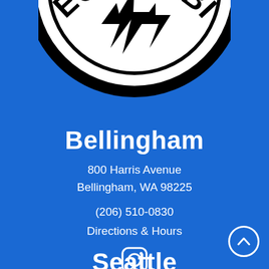[Figure (logo): Partial circular logo with black and white design showing text 'ECTRIC BI' (partial - Electric Bike logo), black star/lightning bolt shape in center, on blue background]
Bellingham
800 Harris Avenue
Bellingham, WA 98225
(206) 510-0830
Directions & Hours
[Figure (logo): Instagram logo icon in white outline]
Seattle